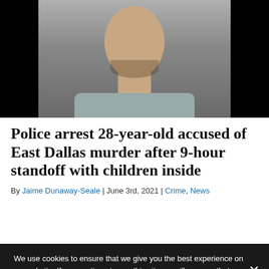[Figure (photo): Mugshot photo of a young man with short hair and beard, wearing a gray shirt, against a gray background]
Police arrest 28-year-old accused of East Dallas murder after 9-hour standoff with children inside
By Jaime Dunaway-Seale | June 3rd, 2021 | Crime, News
We use cookies to ensure that we give you the best experience on our website. If you continue to use this site we will assume that you are happy with it.